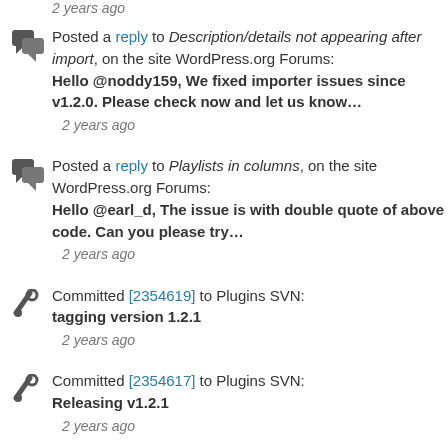2 years ago
Posted a reply to Description/details not appearing after import, on the site WordPress.org Forums:
Hello @noddy159, We fixed importer issues since v1.2.0. Please check now and let us know…
2 years ago
Posted a reply to Playlists in columns, on the site WordPress.org Forums:
Hello @earl_d, The issue is with double quote of above code. Can you please try…
2 years ago
Committed [2354619] to Plugins SVN:
tagging version 1.2.1
2 years ago
Committed [2354617] to Plugins SVN:
Releasing v1.2.1
2 years ago
Committed [2354599] to Plugins SVN:
tagging version 1.2.0